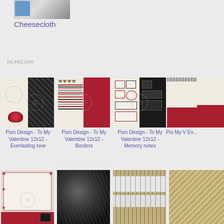[Figure (photo): Small thumbnail image of cheesecloth fabric]
Cheesecloth
InLinkz.com
[Figure (photo): Pion Design scrapbook paper - Everlasting love, cream and dark gray/charcoal pattern with rose]
Pion Design - To My Valentine 12x12 - Everlasting love
[Figure (photo): Pion Design scrapbook paper - Borders, striped pattern with red]
Pion Design - To My Valentine 12x12 - Borders
[Figure (photo): Pion Design scrapbook paper - Memory notes, cream and black with journaling cards]
Pion Design - To My Valentine 12x12 - Memory notes
[Figure (photo): Pion Design scrapbook paper partially visible - Everlasting love variant]
Pio My V Ev...
[Figure (photo): Scrapbook paper with floral frame, cream and pink with red corner]
[Figure (photo): Black feather boa or fur texture]
[Figure (photo): Pearl ribbon trim on burlap/linen fabric]
[Figure (photo): Tan/burlap textured material partially visible]